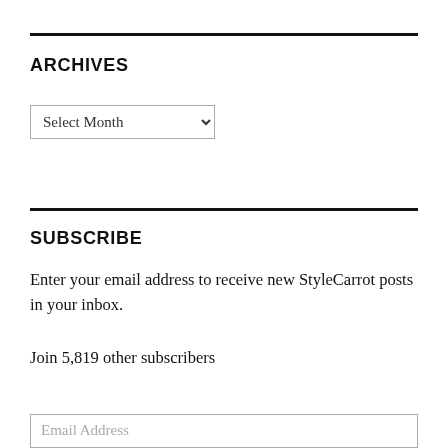ARCHIVES
[Figure (other): Select Month dropdown widget]
SUBSCRIBE
Enter your email address to receive new StyleCarrot posts in your inbox.
Join 5,819 other subscribers
[Figure (other): Email Address input field]